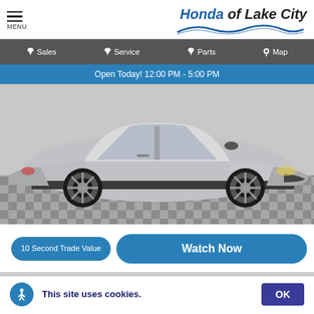Honda of Lake City
Sales | Service | Parts | Map
Open Today! 12:00 PM - 5:00 PM
[Figure (photo): Silver sedan (Nissan Altima) photographed in a dealership showroom with checkered floor tiles]
10 Second Trade Value
Watch Now
This site uses cookies.
OK